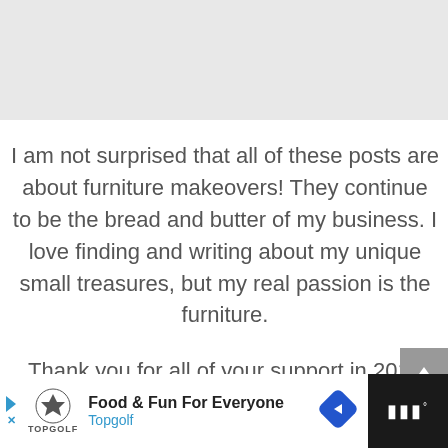[Figure (other): Gray header bar at top of page]
I am not surprised that all of these posts are about furniture makeovers! They continue to be the bread and butter of my business.  I love finding and writing about my unique small treasures, but my real passion is the furniture.
Thank you for all of your support in 2013 and for making these posts so popular!
Happy New Year
[Figure (other): Advertisement banner at bottom: Topgolf - Food & Fun For Everyone, with navigation icons]